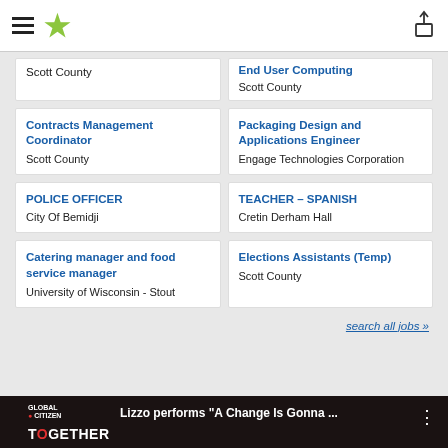Navigation header with hamburger menu, star logo, and share icon
Scott County
End User Computing
Scott County
Contracts Management Coordinator
Scott County
Packaging Design and Applications Engineer
Engage Technologies Corporation
POLICE OFFICER
City Of Bemidji
TEACHER – SPANISH
Cretin Derham Hall
Catering manager and food service manager
University of Wisconsin - Stout
Elections Assistants (Temp)
Scott County
search all jobs »
[Figure (screenshot): Video thumbnail showing 'Lizzo performs A Change Is Gonna ...' from Global Citizen Together At Home event, with a person visible on screen]